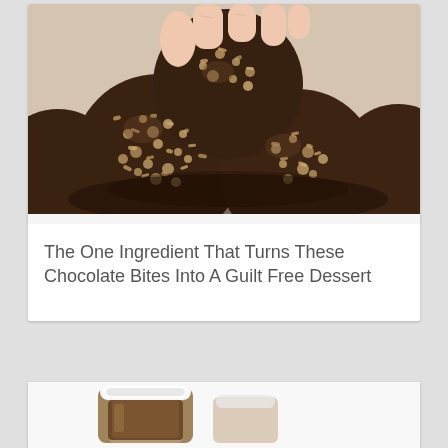[Figure (photo): Close-up photo of chocolate truffle balls coated in chopped nuts, with a hand holding one truffle up]
The One Ingredient That Turns These Chocolate Bites Into A Guilt Free Dessert
[Figure (photo): Photo of a glass jar with a white lid containing a brown substance (likely nut butter or sauce), on a white background]